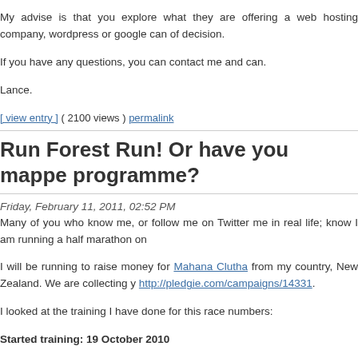My advise is that you explore what they are offering a web hosting company, wordpress or google can of decision.
If you have any questions, you can contact me and can.
Lance.
[ view entry ] ( 2100 views ) permalink
Run Forest Run! Or have you mapped programme?
Friday, February 11, 2011, 02:52 PM
Many of you who know me, or follow me on Twitter me in real life; know I am running a half marathon on
I will be running to raise money for Mahana Clutha from my country, New Zealand. We are collecting y http://pledgie.com/campaigns/14331.
I looked at the training I have done for this race numbers:
Started training: 19 October 2010